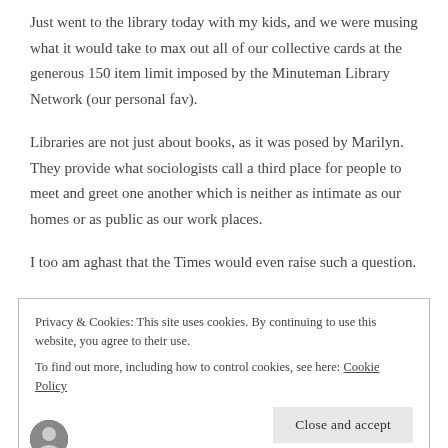Just went to the library today with my kids, and we were musing what it would take to max out all of our collective cards at the generous 150 item limit imposed by the Minuteman Library Network (our personal fav).
Libraries are not just about books, as it was posed by Marilyn. They provide what sociologists call a third place for people to meet and greet one another which is neither as intimate as our homes or as public as our work places.
I too am aghast that the Times would even raise such a question.
Privacy & Cookies: This site uses cookies. By continuing to use this website, you agree to their use. To find out more, including how to control cookies, see here: Cookie Policy